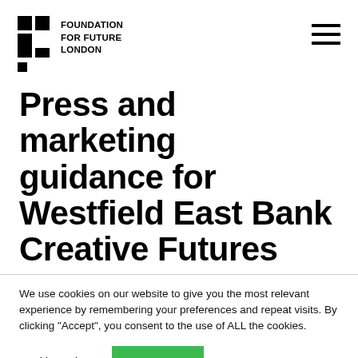Foundation for Future London
Press and marketing guidance for Westfield East Bank Creative Futures
We use cookies on our website to give you the most relevant experience by remembering your preferences and repeat visits. By clicking “Accept”, you consent to the use of ALL the cookies.
Cookie settings | Accept